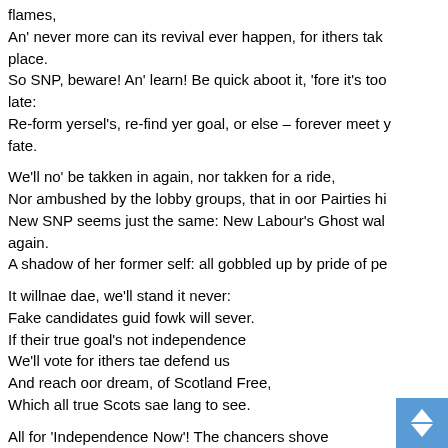flames,
An' never more can its revival ever happen, for ithers tak place.
So SNP, beware! An' learn! Be quick aboot it, 'fore it's too late:
Re-form yersel's, re-find yer goal, or else – forever meet yer fate.

We'll no' be takken in again, nor takken for a ride,
Nor ambushed by the lobby groups, that in oor Pairties hi
New SNP seems just the same: New Labour's Ghost wal again.
A shadow of her former self: all gobbled up by pride of pe

It willnae dae, we'll stand it never:
Fake candidates guid fowk will sever.
If their true goal's not independence
We'll vote for ithers tae defend us
And reach oor dream, of Scotland Free,
Which all true Scots sae lang to see.

All for 'Independence Now'! The chancers shove
An' a' thae graftin' entryists, let's gi'e them a' the b